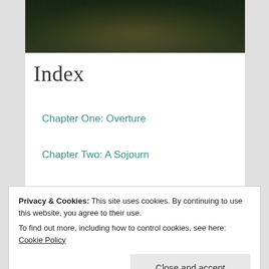[Figure (photo): Partial view of a dark, moody outdoor photo showing foliage and ground cover, cropped at the top of the page.]
Index
Chapter One: Overture
Chapter Two: A Sojourn
Chapter Three: Refrain
Privacy & Cookies: This site uses cookies. By continuing to use this website, you agree to their use.
To find out more, including how to control cookies, see here: Cookie Policy
Close and accept